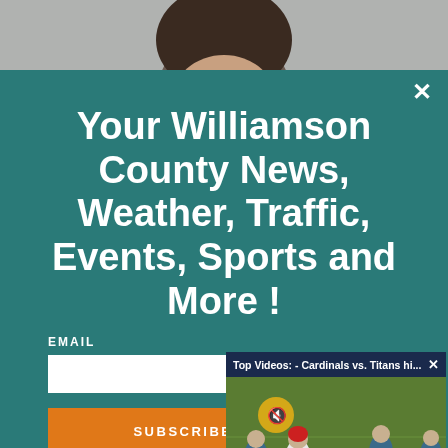[Figure (screenshot): Top portion showing a person's face/head partially visible above a teal modal overlay]
Your Williamson County News, Weather, Traffic, Events, Sports and More !
EMAIL
[Figure (screenshot): Video popup overlay showing Cardinals vs Titans football game with scoreboard. Title bar reads: Top Videos: - Cardinals vs. Titans hi...]
SUBSCRIBE